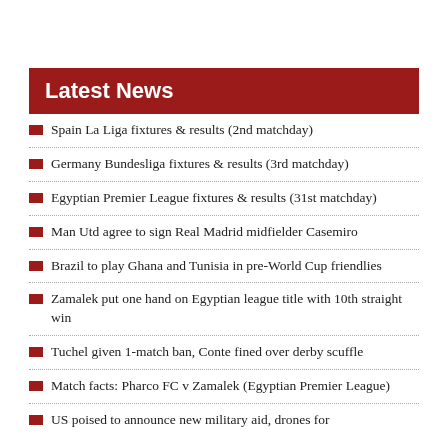Latest News
Spain La Liga fixtures & results (2nd matchday)
Germany Bundesliga fixtures & results (3rd matchday)
Egyptian Premier League fixtures & results (31st matchday)
Man Utd agree to sign Real Madrid midfielder Casemiro
Brazil to play Ghana and Tunisia in pre-World Cup friendlies
Zamalek put one hand on Egyptian league title with 10th straight win
Tuchel given 1-match ban, Conte fined over derby scuffle
Match facts: Pharco FC v Zamalek (Egyptian Premier League)
US poised to announce new military aid, drones for